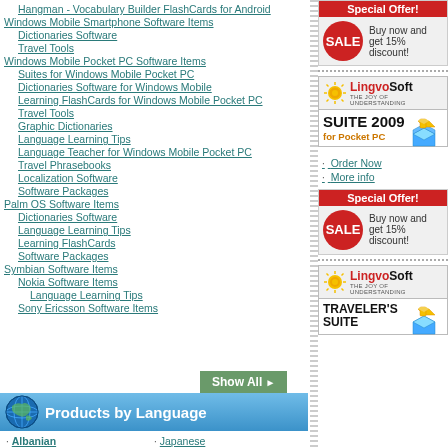Hangman - Vocabulary Builder FlashCards for Android
Windows Mobile Smartphone Software Items
Dictionaries Software
Travel Tools
Windows Mobile Pocket PC Software Items
Suites for Windows Mobile Pocket PC
Dictionaries Software for Windows Mobile
Learning FlashCards for Windows Mobile Pocket PC
Travel Tools
Graphic Dictionaries
Language Learning Tips
Language Teacher for Windows Mobile Pocket PC
Travel Phrasebooks
Localization Software
Software Packages
Palm OS Software Items
Dictionaries Software
Language Learning Tips
Learning FlashCards
Software Packages
Symbian Software Items
Nokia Software Items
Language Learning Tips
Sony Ericsson Software Items
[Figure (other): Show All button with arrow]
Products by Language
Albanian
Arabic
Armenian
Japanese
Korean
Latin
[Figure (other): Special Offer - Buy now and get 15% discount - red SALE badge]
[Figure (logo): LingvoSoft - THE JOY OF UNDERSTANDING - SUITE 2009 for Pocket PC]
Order Now
More info
[Figure (other): Special Offer - Buy now and get 15% discount - red SALE badge]
[Figure (logo): LingvoSoft - THE JOY OF UNDERSTANDING - TRAVELER'S SUITE]